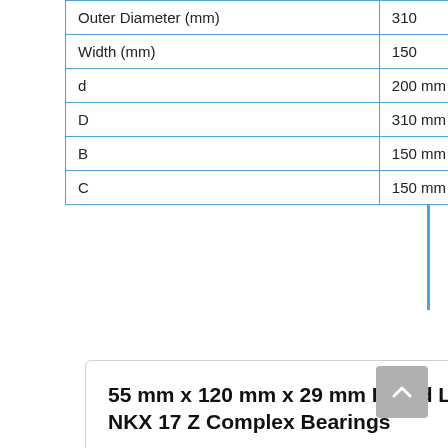|  |  |
| --- | --- |
| Outer Diameter (mm) | 310 |
| Width (mm) | 150 |
| d | 200 mm |
| D | 310 mm |
| B | 150 mm |
| C | 150 mm |
55 mm x 120 mm x 29 mm Brand Loyal NKX 17 Z Complex Bearings
Bearing number:NU311E.TVP; Brand:Timken; Bore Diameter (mm):55; Outer Diameter (mm):106,5; d:55 mm; F:70,5 mm; Read More …